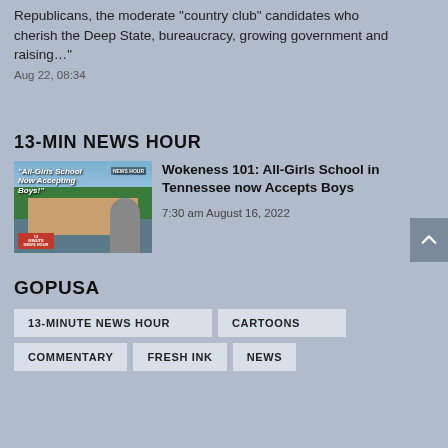Republicans, the moderate “country club” candidates who cherish the Deep State, bureaucracy, growing government and raising…”
Aug 22, 08:34
13-MIN NEWS HOUR
[Figure (photo): Thumbnail image for news story about All-Girls School Now Accepting Boys, showing an aerial view of a school building with trees and sky, and a person giving thumbs up. 13 Minute News Hour logo visible.]
Wokeness 101: All-Girls School in Tennessee now Accepts Boys
7:30 am August 16, 2022
GOPUSA
13-MINUTE NEWS HOUR
CARTOONS
COMMENTARY
FRESH INK
NEWS